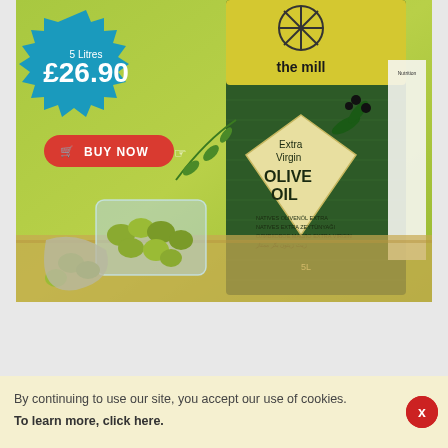[Figure (photo): Product advertisement for 'The Mill' Extra Virgin Olive Oil 5 Litres £26.90. Shows a large green olive oil tin with 'Extra Virgin OLIVE OIL' label, a bowl of green olives, a teal spiky badge showing '5 Litres £26.90', and a red 'BUY NOW' button with a shopping cart icon and cursor.]
By continuing to use our site, you accept our use of cookies. To learn more, click here.